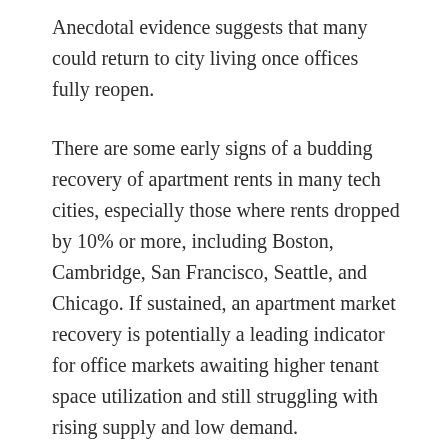Anecdotal evidence suggests that many could return to city living once offices fully reopen.
There are some early signs of a budding recovery of apartment rents in many tech cities, especially those where rents dropped by 10% or more, including Boston, Cambridge, San Francisco, Seattle, and Chicago. If sustained, an apartment market recovery is potentially a leading indicator for office markets awaiting higher tenant space utilization and still struggling with rising supply and low demand.
Apartment Rents Rising in 20